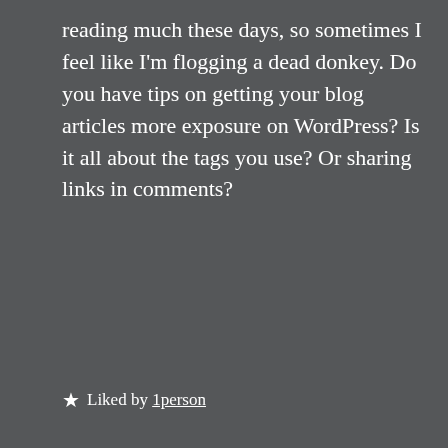reading much these days, so sometimes I feel like I'm flogging a dead donkey. Do you have tips on getting your blog articles more exposure on WordPress? Is it all about the tags you use? Or sharing links in comments?
★ Liked by 1person
A.S.
Privacy & Cookies: This site uses cookies. By continuing to use this website, you agree to their use.
To find out more, including how to control cookies, see here: Cookie Policy
Close and accept